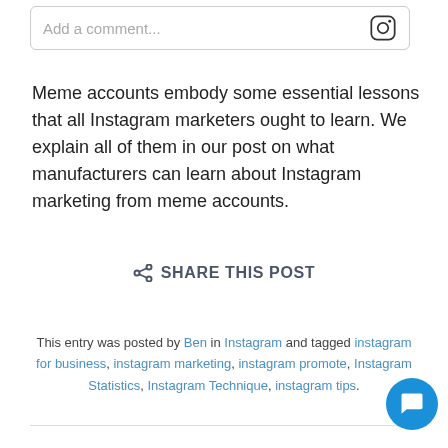[Figure (screenshot): Comment input box with placeholder text 'Add a comment...' and Instagram icon on the right]
Meme accounts embody some essential lessons that all Instagram marketers ought to learn. We explain all of them in our post on what manufacturers can learn about Instagram marketing from meme accounts.
SHARE THIS POST
This entry was posted by Ben in Instagram and tagged instagram for business, instagram marketing, instagram promote, Instagram Statistics, Instagram Technique, instagram tips.